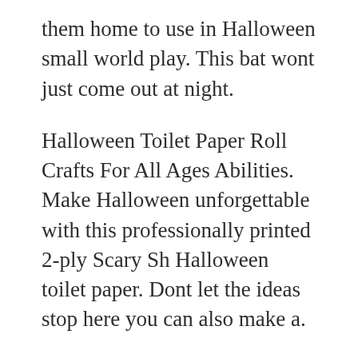them home to use in Halloween small world play. This bat wont just come out at night.
Halloween Toilet Paper Roll Crafts For All Ages Abilities. Make Halloween unforgettable with this professionally printed 2-ply Scary Sh Halloween toilet paper. Dont let the ideas stop here you can also make a.
Halloween crafts using paper rolls are all over Pinterest. Place the end of the roll in the mummys hand and start rolling up arms with toilet paper. Toilet paper rolls are the most versatile and inexpensive craft item in our stash